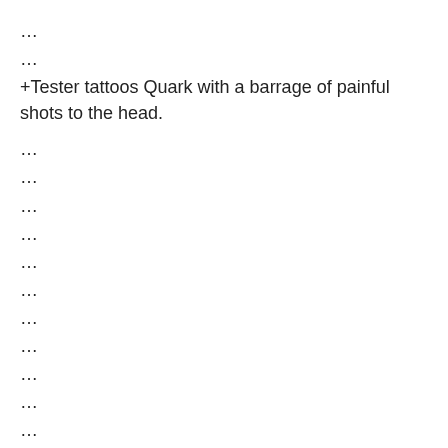…
…
+Tester tattoos Quark with a barrage of painful shots to the head.
…
…
…
…
…
…
…
…
…
…
…
…
…